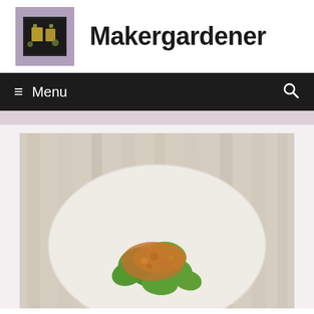[Figure (logo): Makergardener website logo: small square photo of food items on dark background with purple/mauve border]
Makergardener
≡ Menu
[Figure (photo): Top-down photo of a white plate on a wooden surface with green vegetable dish topped with crumbled ingredients]